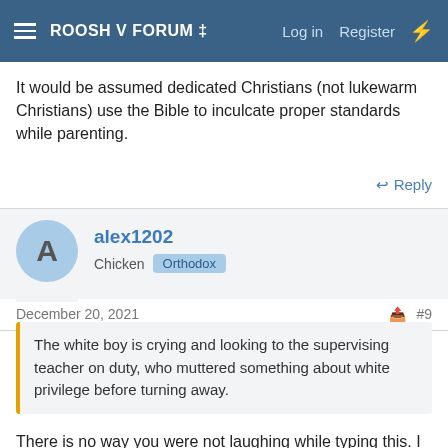ROOSH V FORUM ‡  Log in  Register
It would be assumed dedicated Christians (not lukewarm Christians) use the Bible to inculcate proper standards while parenting.
↩ Reply
alex1202
Chicken  Orthodox
December 20, 2021  #9
The white boy is crying and looking to the supervising teacher on duty, who muttered something about white privilege before turning away.
There is no way you were not laughing while typing this. I definitely enjoyed the subtle comedy in this one. Good post, Roosh.